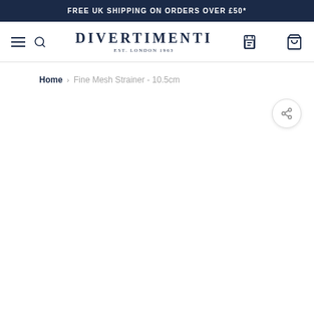FREE UK SHIPPING ON ORDERS OVER £50*
[Figure (logo): Divertimenti logo with text DIVERTIMENTI EST. LONDON 1963]
Home › Fine Mesh Strainer - 10.5cm
[Figure (other): Share button icon (circular button with share/network icon)]